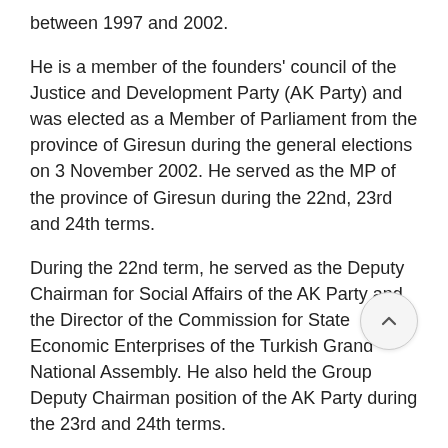between 1997 and 2002.
He is a member of the founders' council of the Justice and Development Party (AK Party) and was elected as a Member of Parliament from the province of Giresun during the general elections on 3 November 2002. He served as the MP of the province of Giresun during the 22nd, 23rd and 24th terms.
During the 22nd term, he served as the Deputy Chairman for Social Affairs of the AK Party and the Director of the Commission for State Economic Enterprises of the Turkish Grand National Assembly. He also held the Group Deputy Chairman position of the AK Party during the 23rd and 24th terms.
Mr. Canikli served as the Minister of Customs and Trade for the 62nd Government.
Following the elections on 1 November 2015, he was reappointed as the Group Deputy Chairman of the AK Party.